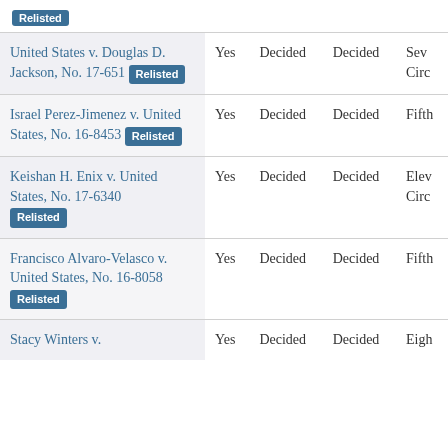| Case | Relisted | Status 1 | Status 2 | Circuit |
| --- | --- | --- | --- | --- |
| United States v. Douglas D. Jackson, No. 17-651 [Relisted] | Yes | Decided | Decided | Seventh Circuit |
| Israel Perez-Jimenez v. United States, No. 16-8453 [Relisted] | Yes | Decided | Decided | Fifth |
| Keishan H. Enix v. United States, No. 17-6340 [Relisted] | Yes | Decided | Decided | Eleventh Circuit |
| Francisco Alvaro-Velasco v. United States, No. 16-8058 [Relisted] | Yes | Decided | Decided | Fifth |
| Stacy Winters v. ... | Yes | Decided | Decided | Eighth |